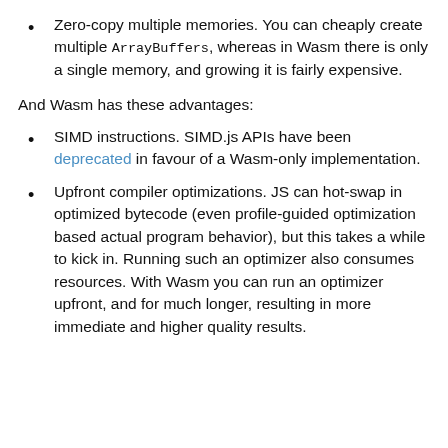Zero-copy multiple memories. You can cheaply create multiple ArrayBuffers, whereas in Wasm there is only a single memory, and growing it is fairly expensive.
And Wasm has these advantages:
SIMD instructions. SIMD.js APIs have been deprecated in favour of a Wasm-only implementation.
Upfront compiler optimizations. JS can hot-swap in optimized bytecode (even profile-guided optimization based actual program behavior), but this takes a while to kick in. Running such an optimizer also consumes resources. With Wasm you can run an optimizer upfront, and for much longer, resulting in more immediate and higher quality results.